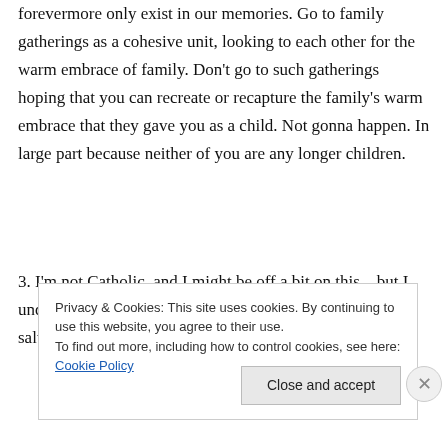forevermore only exist in our memories. Go to family gatherings as a cohesive unit, looking to each other for the warm embrace of family. Don't go to such gatherings hoping that you can recreate or recapture the family's warm embrace that they gave you as a child. Not gonna happen. In large part because neither of you are any longer children.
3. I'm not Catholic, and I might be off a bit on this – but I understand that the orthodox Catholics believe that salvation cannot be obtained outside
Privacy & Cookies: This site uses cookies. By continuing to use this website, you agree to their use. To find out more, including how to control cookies, see here: Cookie Policy